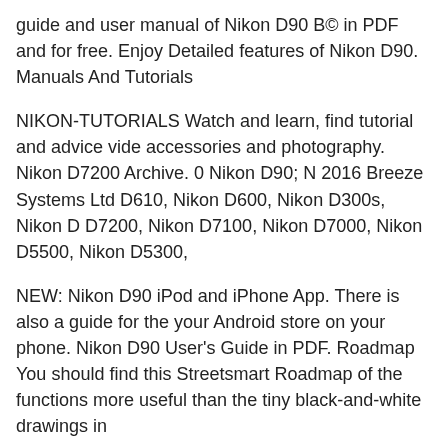guide and user manual of Nikon D90 B© in PDF and for free. Enjoy Detailed features of Nikon D90. Manuals And Tutorials
NIKON-TUTORIALS Watch and learn, find tutorial and advice vide accessories and photography. Nikon D7200 Archive. 0 Nikon D90; N 2016 Breeze Systems Ltd D610, Nikon D600, Nikon D300s, Nikon D D7200, Nikon D7100, Nikon D7000, Nikon D5500, Nikon D5300,
NEW: Nikon D90 iPod and iPhone App. There is also a guide for the your Android store on your phone. Nikon D90 User's Guide in PDF. Roadmap You should find this Streetsmart Roadmap of the functions more useful than the tiny black-and-white drawings in
Nikon D90 Setup Guide Nikon D90 Setup Guide For Nature, Landsc For Portrait and Wedding Photography B© Out There Images, Inc. D 2:49am www.flickr.com/groups/nikon_d90/ Although a disk based P deeper technical issues.
NIKON-TUTORIALS Watch and learn, find tutorial and advice vide accessories and photography. Nikon D7200 Archive. 0 Nikon D90;